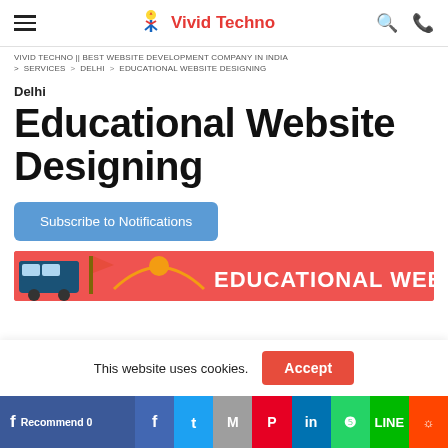Vivid Techno
VIVID TECHNO || BEST WEBSITE DEVELOPMENT COMPANY IN INDIA > SERVICES > DELHI > EDUCATIONAL WEBSITE DESIGNING
Delhi
Educational Website Designing
Subscribe to Notifications
[Figure (illustration): Educational web banner with icons and text EDUCATIONAL WEB on red background]
This website uses cookies. Accept
f Recommend 0 | f | Twitter | M | Pinterest | LinkedIn | WhatsApp | LINE | Reddit